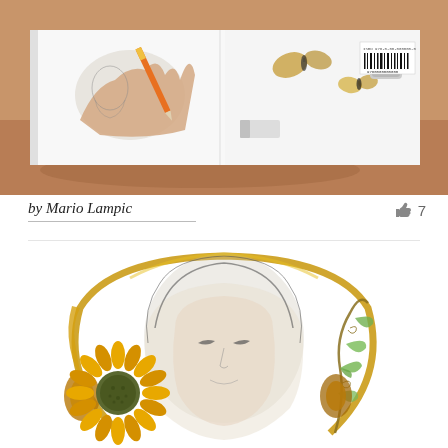[Figure (photo): Stack of white books/sketchbooks photographed from an angle on a warm tan/brown surface. The top book is open showing a hand drawing with a pencil on one half, and butterflies with a pencil sharpener on the other half. A barcode is visible on the right side of the top book.]
by Mario Lampic
7
[Figure (illustration): Artistic illustration combining pencil sketch and watercolor/ink elements. A woman's face and upper body drawn in graphite, surrounded by a decorative headphone-like arc in golden/amber tones. A large sunflower covers the left ear area. Green ivy vines with leaves decorate the right side. The overall style blends realistic pencil portraiture with colorful botanical elements.]